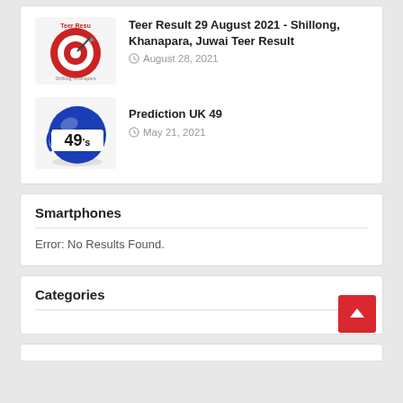[Figure (photo): Teer Result logo with a dart target in red and white, text 'Teer Resu... Shillong, Khanapara']
Teer Result 29 August 2021 - Shillong, Khanapara, Juwai Teer Result
August 28, 2021
[Figure (logo): UK 49s lottery ball logo - blue ball with '49's' text]
Prediction UK 49
May 21, 2021
Smartphones
Error: No Results Found.
Categories